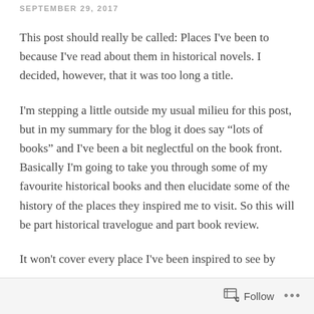SEPTEMBER 29, 2017
This post should really be called: Places I've been to because I've read about them in historical novels. I decided, however, that it was too long a title.
I'm stepping a little outside my usual milieu for this post, but in my summary for the blog it does say “lots of books” and I've been a bit neglectful on the book front. Basically I'm going to take you through some of my favourite historical books and then elucidate some of the history of the places they inspired me to visit. So this will be part historical travelogue and part book review.
It won't cover every place I've been inspired to see by
Follow ...